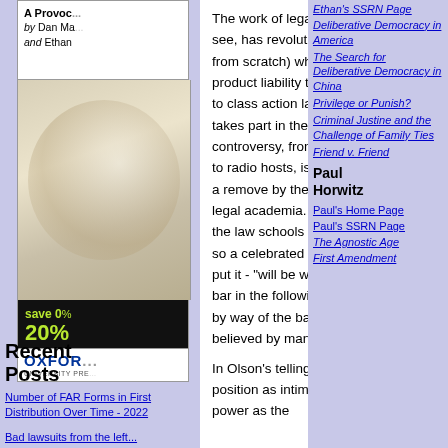[Figure (other): Book advertisement with title 'A Provoc...' by Dan Ma... and Ethan, with Oxford University Press branding and 'save 20%' offer. Black and white/color book ad layout.]
Recent Posts
Number of FAR Forms in First Distribution Over Time - 2022
Bad lawsuits from the left...
The work of legal scholars, as we will see, has revolutionized (or created from scratch) whole fields of law, from product liability to sexual harassment to class action law...Anyone who takes part in the world of public controversy, from Capitol Hill staffers to radio hosts, is swayed directly or at a remove by the climate of opinion in legal academia. "[W]hat is taught in the law schools in one generation" - so a celebrated law professor once put it - "will be widely believed by the bar in the following generation" - and, by way of the bar, will come to be believed by many of the rest of us.
In Olson's telling, law profs enjoy a position as intimate and persuasive to power as the
Ethan's SSRN Page
Deliberative Democracy in America
The Search for Deliberative Democracy in China
Privilege or Punish?
Criminal Justine and the Challenge of Family Ties
Friend v. Friend
Paul Horwitz
Paul's Home Page
Paul's SSRN Page
The Agnostic Age
First Amendment